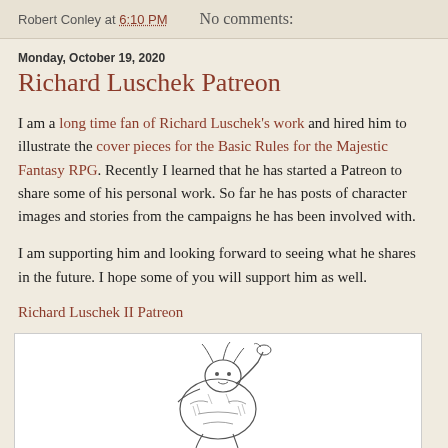Robert Conley at 6:10 PM   No comments:
Monday, October 19, 2020
Richard Luschek Patreon
I am a long time fan of Richard Luschek's work and hired him to illustrate the cover pieces for the Basic Rules for the Majestic Fantasy RPG. Recently I learned that he has started a Patreon to share some of his personal work. So far he has posts of character images and stories from the campaigns he has been involved with.
I am supporting him and looking forward to seeing what he shares in the future. I hope some of you will support him as well.
Richard Luschek II Patreon
[Figure (illustration): Black and white ink illustration of a fantastical armored creature or character holding something aloft, detailed pen-and-ink style.]